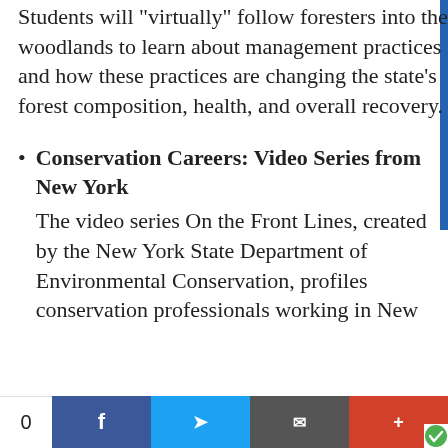Students will 'virtually' follow foresters into the woodlands to learn about management practices and how these practices are changing the state's forest composition, health, and overall recovery.
Conservation Careers: Video Series from New York
The video series On the Front Lines, created by the New York State Department of Environmental Conservation, profiles conservation professionals working in New...